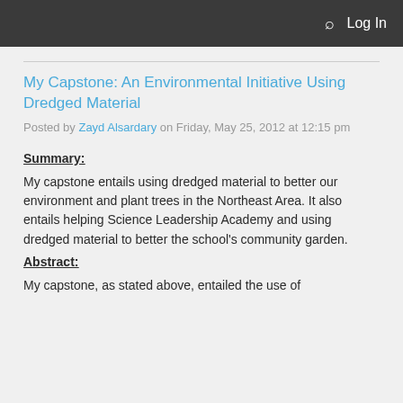Log In
My Capstone: An Environmental Initiative Using Dredged Material
Posted by Zayd Alsardary on Friday, May 25, 2012 at 12:15 pm
Summary:
My capstone entails using dredged material to better our environment and plant trees in the Northeast Area. It also entails helping Science Leadership Academy and using dredged material to better the school's community garden.
Abstract:
My capstone, as stated above, entailed the use of